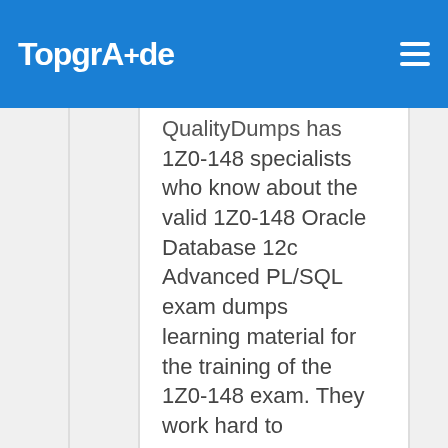TopgrAde
QualityDumps has 1Z0-148 specialists who know about the valid 1Z0-148 Oracle Database 12c Advanced PL/SQL exam dumps learning material for the training of the 1Z0-148 exam. They work hard to structure an authenticated Oracle 1Z0-148 exam questions pdf preparation that covers the actual questions of the 1Z0-148 exam.